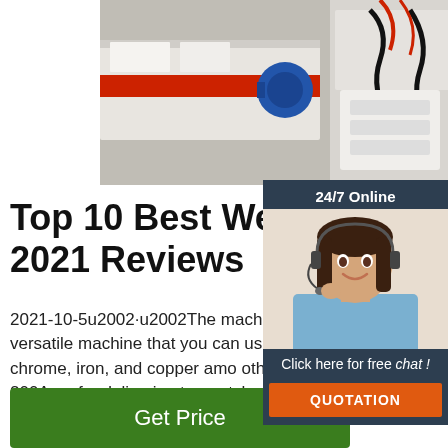[Figure (photo): Industrial welding/extrusion machine in a factory setting with blue motor, red conveyor belt, and cables visible]
Top 10 Best Welding Mach 2021 Reviews
2021-10-5u2002·u2002The machine also carrying handle, which allows for easy portable. It is a versatile machine that you can use welding up to ½-inches alloy steel, stainless, mild steel, chrome, iron, and copper among others. This is because the machine has power output of 200Amp for delivering top-notch services.
[Figure (photo): Customer service representative with headset, 24/7 Online chat widget with QUOTATION button]
Get Price